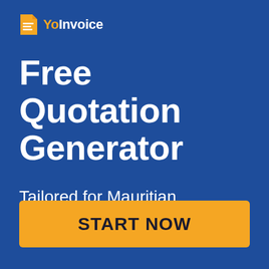[Figure (logo): YoInvoice logo with orange document icon and white/orange text 'YoInvoice']
Free Quotation Generator
Tailored for Mauritian Plumbers
START NOW